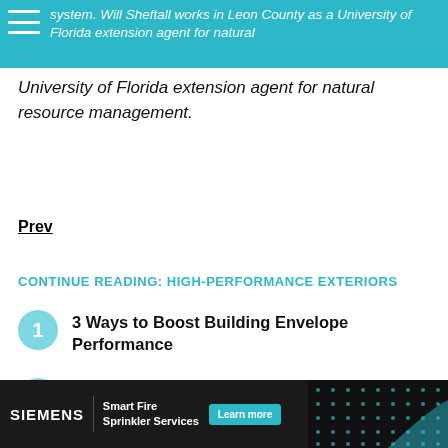system. Will Sheftall works in Leon County as a University of Florida extension agent for natural resource management.
University of Florida extension agent for natural resource management.
Prev
CONTINUE READING: HIGH-PERFORMANCE EXTERIORS
1 3 Ways to Boost Building Envelope Performance
2 3 More Ways to Boost Building Envelope Performance
3 SIDEBAR: Innovative System Allows Florida
[Figure (infographic): Siemens advertisement banner: Smart Fire Sprinkler Services with Learn more button and teal dot pattern]